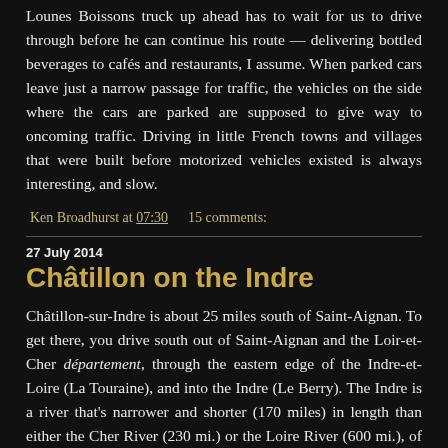Lounes Boissons truck up ahead has to wait for us to drive through before he can continue his route — delivering bottled beverages to cafés and restaurants, I assume. When parked cars leave just a narrow passage for traffic, the vehicles on the side where the cars are parked are supposed to give way to oncoming traffic. Driving in little French towns and villages that were built before motorized vehicles existed is always interesting, and slow.
Ken Broadhurst at 07:30   15 comments:
27 July 2014
Châtillon on the Indre
Châtillon-sur-Indre is about 25 miles south of Saint-Aignan. To get there, you drive south out of Saint-Aignan and the Loir-et-Cher département, through the eastern edge of the Indre-et-Loire (La Touraine), and into the Indre (Le Berry). The Indre is a river that's narrower and shorter (170 miles) in length than either the Cher River (230 mi.) or the Loire River (600 mi.), of which other two are tributaries.